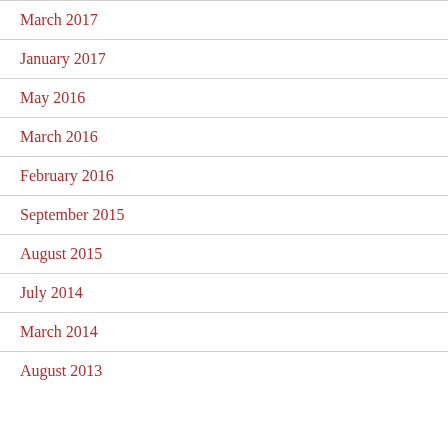March 2017
January 2017
May 2016
March 2016
February 2016
September 2015
August 2015
July 2014
March 2014
August 2013